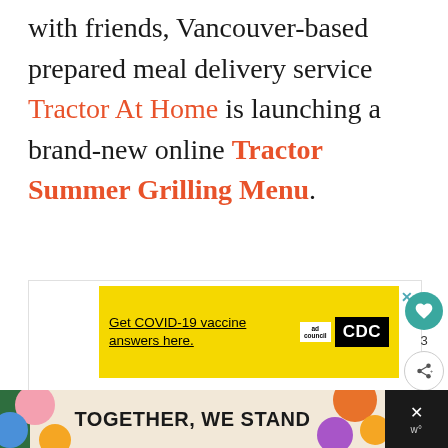with friends, Vancouver-based prepared meal delivery service Tractor At Home is launching a brand-new online Tractor Summer Grilling Menu.
[Figure (screenshot): Yellow advertisement banner: 'Get COVID-19 vaccine answers here.' with Ad Council and CDC logos and close button]
[Figure (screenshot): Bottom banner advertisement with colorful decorations reading 'TOGETHER, WE STAND' on cream background with close button and 'w°' logo]